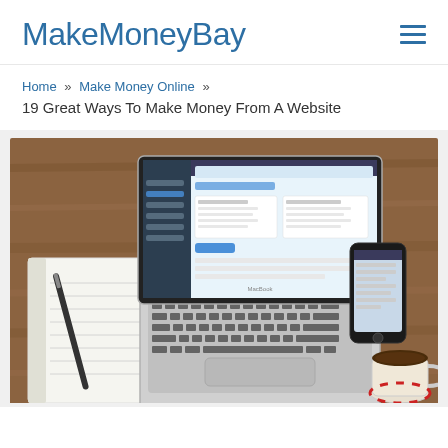MakeMoneyBay
Home » Make Money Online »
19 Great Ways To Make Money From A Website
[Figure (photo): Laptop on a wooden desk showing a WordPress or dashboard interface, with a notebook and pen on the left, a smartphone on the right, and a coffee cup in the bottom right corner.]